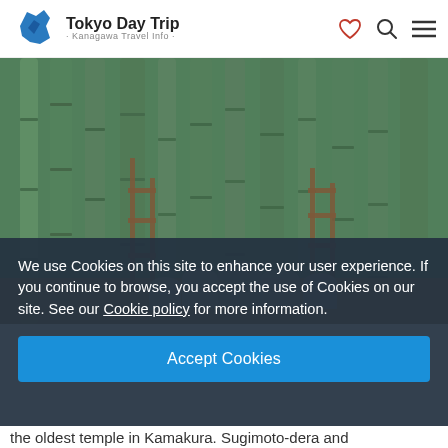Tokyo Day Trip · Kanagawa Travel Info ·
[Figure (photo): Dense bamboo forest with moss-covered stone grave markers / Buddhist statues at the base of bamboo stalks, with wooden support structures. Earthy ground with fallen leaves.]
We use Cookies on this site to enhance your user experience. If you continue to browse, you accept the use of Cookies on our site. See our Cookie policy for more information.
Accept Cookies
the oldest temple in Kamakura. Sugimoto-dera and